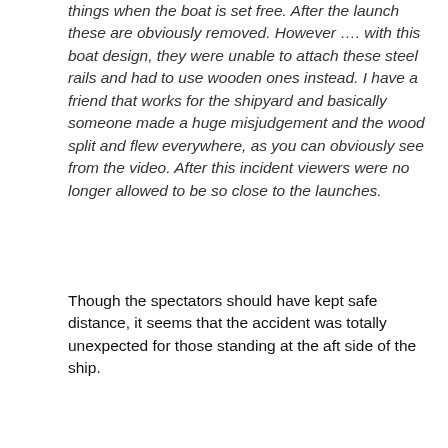things when the boat is set free. After the launch these are obviously removed. However …. with this boat design, they were unable to attach these steel rails and had to use wooden ones instead. I have a friend that works for the shipyard and basically someone made a huge misjudgement and the wood split and flew everywhere, as you can obviously see from the video. After this incident viewers were no longer allowed to be so close to the launches.
Though the spectators should have kept safe distance, it seems that the accident was totally unexpected for those standing at the aft side of the ship.